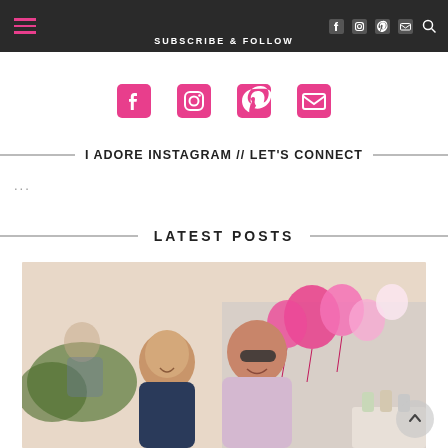SUBSCRIBE & FOLLOW
[Figure (illustration): Social media icons row: Facebook, Instagram, Pinterest, Email in pink]
I ADORE INSTAGRAM // LET'S CONNECT
...
LATEST POSTS
[Figure (photo): A man and a woman smiling at an outdoor party with pink balloons in the background]